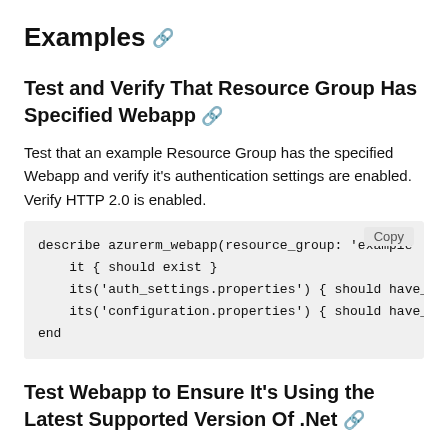Examples
Test and Verify That Resource Group Has Specified Webapp
Test that an example Resource Group has the specified Webapp and verify it's authentication settings are enabled. Verify HTTP 2.0 is enabled.
describe azurerm_webapp(resource_group: 'example
    it { should exist }
    its('auth_settings.properties') { should have_
    its('configuration.properties') { should have_
end
Test Webapp to Ensure It's Using the Latest Supported Version Of .Net